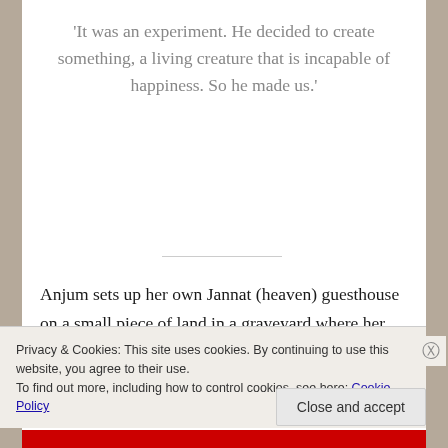'It was an experiment. He decided to create something, a living creature that is incapable of happiness. So he made us.'
Anjum sets up her own Jannat (heaven) guesthouse on a small piece of land in a graveyard where her family is buried. Jannat guesthouse becomes home to some other odd balls, a baby picked up from trash, an almost blind untouchable man, an animal lover raised by hijras, a music teacher, a molvi and Tilo.
Privacy & Cookies: This site uses cookies. By continuing to use this website, you agree to their use. To find out more, including how to control cookies, see here: Cookie Policy
Close and accept